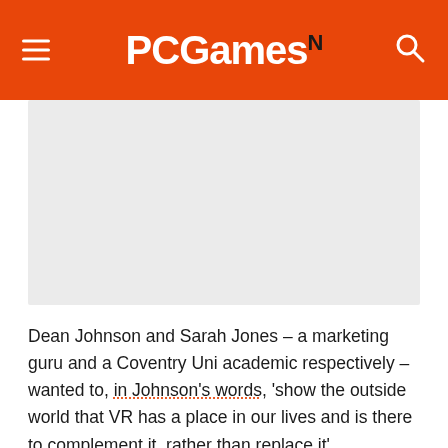PCGamesN
[Figure (photo): Gray placeholder image area]
Dean Johnson and Sarah Jones – a marketing guru and a Coventry Uni academic respectively – wanted to, in Johnson's words, 'show the outside world that VR has a place in our lives and is there to complement it, rather than replace it'.
VR48: Countdown to Immersion Impos...